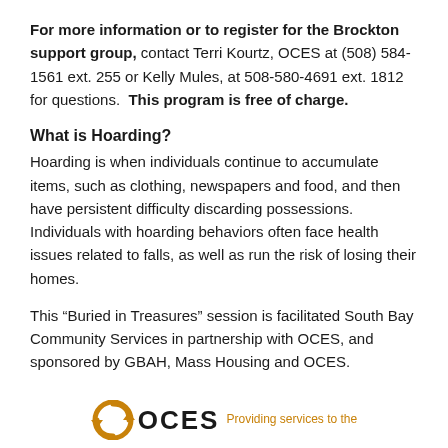For more information or to register for the Brockton support group, contact Terri Kourtz, OCES at (508) 584-1561 ext. 255 or Kelly Mules, at 508-580-4691 ext. 1812 for questions.  This program is free of charge.
What is Hoarding?
Hoarding is when individuals continue to accumulate items, such as clothing, newspapers and food, and then have persistent difficulty discarding possessions. Individuals with hoarding behaviors often face health issues related to falls, as well as run the risk of losing their homes.
This “Buried in Treasures” session is facilitated South Bay Community Services in partnership with OCES, and sponsored by GBAH, Mass Housing and OCES.
[Figure (logo): OCES logo with circular arrow icon and tagline 'Providing services to the']